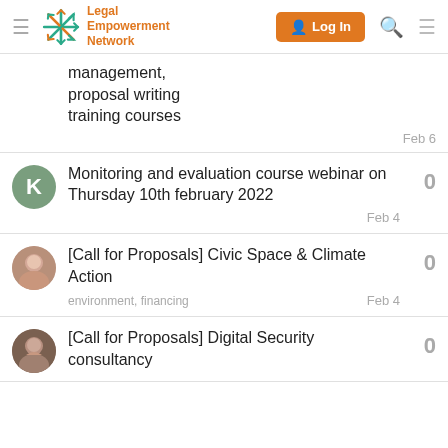Legal Empowerment Network — Log In
management, proposal writing training courses — Feb 6
Monitoring and evaluation course webinar on Thursday 10th february 2022 — 0 replies — Feb 4
[Call for Proposals] Civic Space & Climate Action — environment, financing — 0 replies — Feb 4
[Call for Proposals] Digital Security consultancy — 0 replies